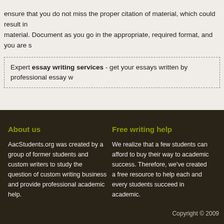ensure that you do not miss the proper citation of material, which could result in material. Document as you go in the appropriate, required format, and you are s
Expert essay writing services - get your essays written by professional essay w
About us
AacStudents.org was created by a group of former students and custom writers to study the question of custom writing business and provide professional academic help.
Free writing help
We realize that a few students can afford to buy their way to academic success. Therefore, we've created a free resource to help each and every students succeed in academic.
Copyright © 2009